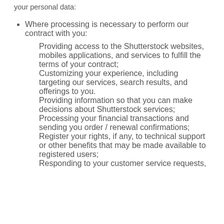your personal data:
Where processing is necessary to perform our contract with you:
Providing access to the Shutterstock websites, mobiles applications, and services to fulfill the terms of your contract;
Customizing your experience, including targeting our services, search results, and offerings to you.
Providing information so that you can make decisions about Shutterstock services;
Processing your financial transactions and sending you order / renewal confirmations;
Register your rights, if any, to technical support or other benefits that may be made available to registered users;
Responding to your customer service requests,